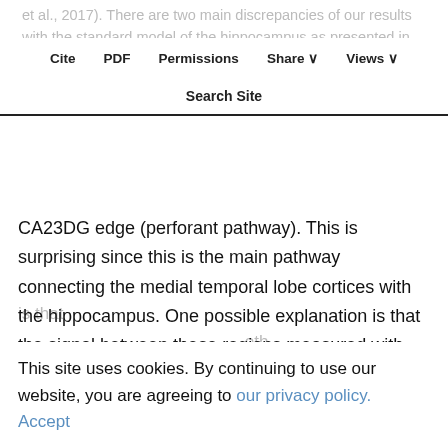et al., 2017). There are two main discrepancies of our results with the standard model of the hippocampus as presented in Lavenex and Amaral (2000). First, neither FASK nor Two-Step robustly inferred the ERC–
Cite  PDF  Permissions  Share  Views  Search Site
CA23DG edge (perforant pathway). This is surprising since this is the main pathway connecting the medial temporal lobe cortices with the hippocampus. One possible explanation is that the signal between these regions measured with resting-state fMRI is not strong enough to be captured by our methods. Another explanation is that the efficacy of existing structural connectivity is modulated in a task-dependent fashion, so not all possible pathways should be functionally
This site uses cookies. By continuing to use our website, you are agreeing to our privacy policy.
Accept
correctly spatially defined and necessary voxels